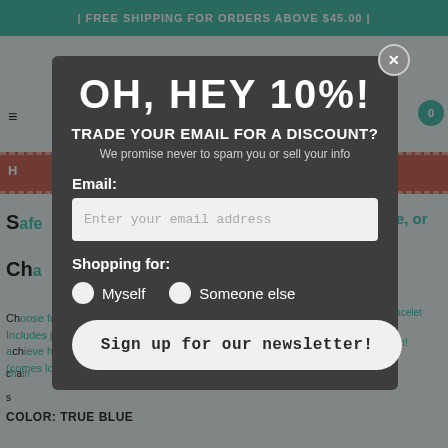| FREE SHIPPING FOR ORDERS ABOVE $45.00 |
OH, HEY 10%!
TRADE YOUR EMAIL FOR A DISCOUNT?
We promise never to spam you or sell your info
Email:
Enter your email address
Shopping for:
Myself
Someone else
Sign up for our newsletter!
COLOR: TRUE BLUE